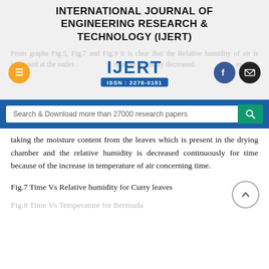INTERNATIONAL JOURNAL OF ENGINEERING RESEARCH & TECHNOLOGY (IJERT)
[Figure (logo): IJERT logo with ISSN 2278-0181, overlaid on faded text about relative humidity of air, with orange menu icon, Facebook icon, and mail icon]
[Figure (screenshot): Search bar reading 'Search & Download more than 27000 research papers' with teal search button]
taking the moisture content from the leaves which is present in the drying chamber and the relative humidity is decreased continuously for time because of the increase in temperature of air concerning time.
Fig.7 Time Vs Relative humidity for Curry leaves
Fig.8 Time Vs Temperature for Bermuda